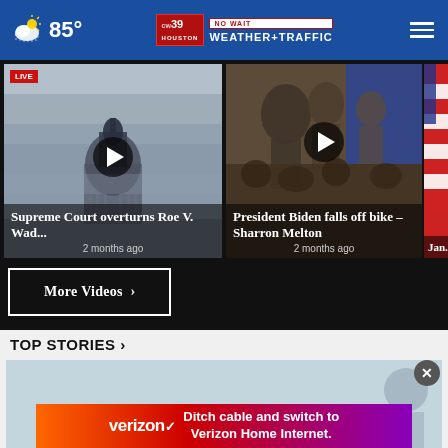85° CW39 Houston NO WAIT WEATHER+TRAFFIC
[Figure (screenshot): Video thumbnail: Supreme Court building in fog. Play button overlay. LIVE badge. Title: Supreme Court overturns Roe V. Wad... 2 months ago]
[Figure (screenshot): Video thumbnail: President Biden falls off bike crowd scene. Play button overlay. Title: President Biden falls off bike – Sharron Melton 2 months ago]
[Figure (screenshot): Partial video thumbnail: Jan. 6 Heari... with American flag]
More Videos ›
TOP STORIES ›
[Figure (screenshot): Top stories image area with close button (x) and Verizon advertisement: Ditch cable and switch to Verizon Home Internet.]